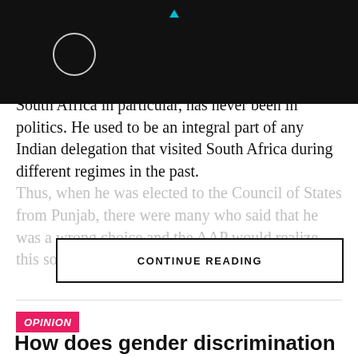[Figure (screenshot): Dark header bar with a circular loading/profile icon and a cyan downward-pointing triangle/arrow icon]
South Africa in particular, has never been in politics. He used to be an integral part of any Indian delegation that visited South Africa during different regimes in the past. Thus, when he was elected to the Council of States from Punjab, there were many who said that he was a wrong choice and the AAP would realize this sooner than later.
CONTINUE READING
OPINION
How does gender discrimination affect politics?